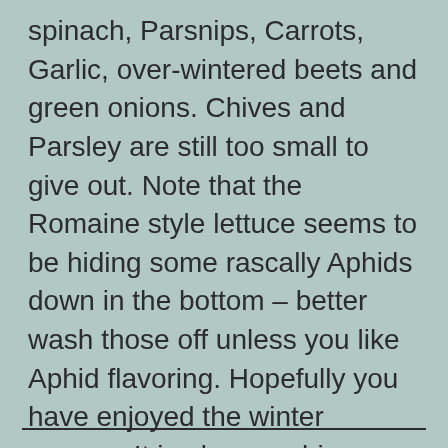spinach, Parsnips, Carrots, Garlic, over-wintered beets and green onions. Chives and Parsley are still too small to give out. Note that the Romaine style lettuce seems to be hiding some rascally Aphids down in the bottom – better wash those off unless you like Aphid flavoring. Hopefully you have enjoyed the winter season. It is always a big gamble and adventure!